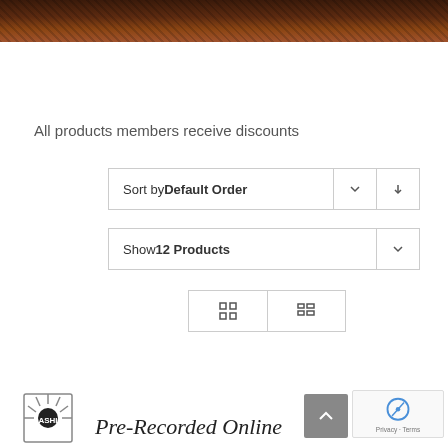[Figure (photo): Dark brown/reddish textured header image, appears to be leather or wood grain pattern]
All products members receive discounts
Sort by Default Order
Show 12 Products
[Figure (screenshot): View toggle buttons: grid view and list view icons]
[Figure (logo): ASHI logo - circular emblem with rays]
Pre-Recorded Online